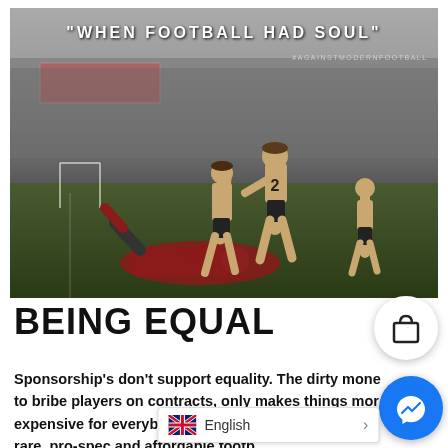[Figure (photo): Black and white vintage football photo with colour-tinted fallen player in red shirt. Text overlay reads "WHEN FOOTBALL HAD SOUL" and hashtag #AGAINSTMODERNFOOTBALL]
BEING EQUAL
Sponsorship's don't support equality. The dirty money to bribe players on contracts, only makes things more expensive for everybody else who lo... rare, pro-spec and affordable footb...